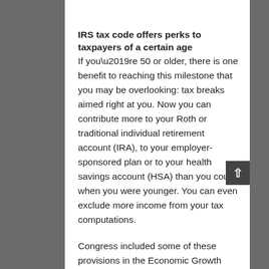IRS tax code offers perks to taxpayers of a certain age
If you’re 50 or older, there is one benefit to reaching this milestone that you may be overlooking: tax breaks aimed right at you. Now you can contribute more to your Roth or traditional individual retirement account (IRA), to your employer-sponsored plan or to your health savings account (HSA) than you could when you were younger. You can even exclude more income from your tax computations.
Congress included some of these provisions in the Economic Growth and